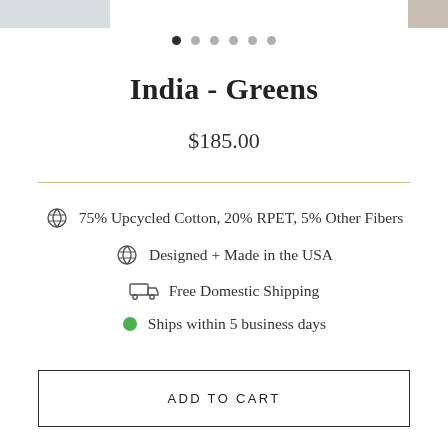[Figure (photo): Product image strip at top, partial view with grey area on left and beige/wood-tone on right]
[Figure (other): Image carousel dots: 6 dots, first one filled/active, rest grey]
India - Greens
$185.00
75% Upcycled Cotton, 20% RPET, 5% Other Fibers
Designed + Made in the USA
Free Domestic Shipping
Ships within 5 business days
ADD TO CART